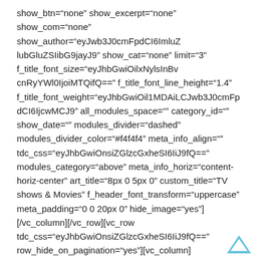show_btn="none" show_excerpt="none" show_com="none" show_author="eyJwb3J0cmFpdCI6ImlubGluZSIibG9jayJ9jayJ9" show_cat="none" limit="3" f_title_font_size="eyJhbGwiOilxNylsInBvcnRyYWl0IjoiMTQifQ==" f_title_font_line_height="1.4" f_title_font_weight="eyJhbGwiOil1MDAiLCJwb3J0cmFpdCI6IjcwMCJ9" all_modules_space="" category_id="" show_date="" modules_divider="dashed" modules_divider_color="#f4f4f4" meta_info_align="" tdc_css="eyJhbGwiOnsiZGlzcGxheSI6IiJ9fQ==" modules_category="above" meta_info_horiz="content-horiz-center" art_title="8px 0 5px 0" custom_title="TV shows & Movies" f_header_font_transform="uppercase" meta_padding="0 0 20px 0" hide_image="yes"] [/vc_column][/vc_row][vc_row tdc_css="eyJhbGwiOnsiZGlzcGxheSI6IiJ9fQ==" row_hide_on_pagination="yes"][vc_column]
[Figure (other): A chevron/up-arrow scroll-to-top icon in blue/cyan color, positioned at bottom right]